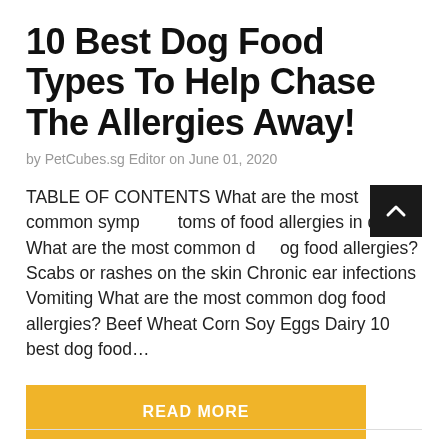10 Best Dog Food Types To Help Chase The Allergies Away!
by PetCubes.sg Editor on June 01, 2020
TABLE OF CONTENTS What are the most common symptoms of food allergies in dogs? What are the most common dog food allergies? Scabs or rashes on the skin Chronic ear infections Vomiting What are the most common dog food allergies? Beef Wheat Corn Soy Eggs Dairy 10 best dog food…
READ MORE